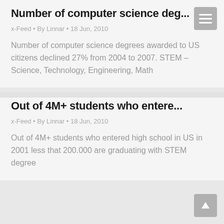Number of computer science deg...
x-Feed • By Linnar • 18 Jun, 2010
Number of computer science degrees awarded to US citizens declined 27% from 2004 to 2007. STEM – Science, Technology, Engineering, Math
Out of 4M+ students who entere...
x-Feed • By Linnar • 18 Jun, 2010
Out of 4M+ students who entered high school in US in 2001 less that 200.000 are graduating with STEM degree